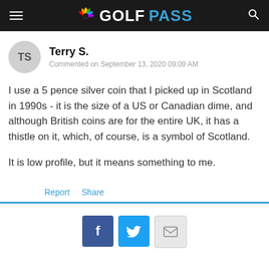GOLFPASS
Terry S. — Commented on September 13, 2020 09:09 AM
I use a 5 pence silver coin that I picked up in Scotland in 1990s - it is the size of a US or Canadian dime, and although British coins are for the entire UK, it has a thistle on it, which, of course, is a symbol of Scotland.

It is low profile, but it means something to me.
Report   Share